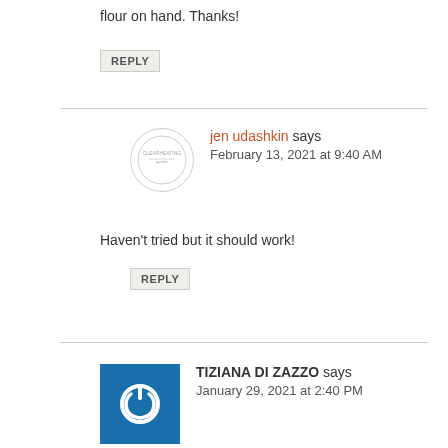flour on hand. Thanks!
REPLY
jen udashkin says
February 13, 2021 at 9:40 AM
Haven't tried but it should work!
REPLY
TIZIANA DI ZAZZO says
January 29, 2021 at 2:40 PM